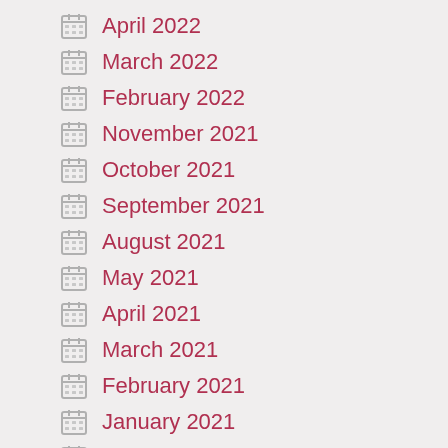April 2022
March 2022
February 2022
November 2021
October 2021
September 2021
August 2021
May 2021
April 2021
March 2021
February 2021
January 2021
December 2020
November 2020